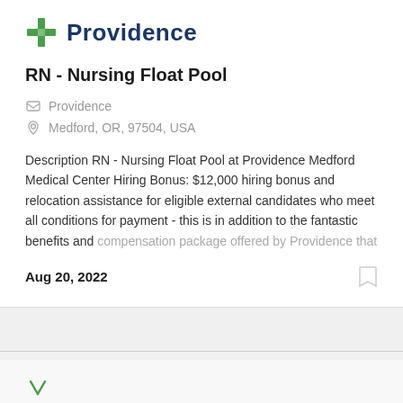[Figure (logo): Providence health system logo with green cross icon and dark blue 'Providence' wordmark]
RN - Nursing Float Pool
Providence
Medford, OR, 97504, USA
Description RN - Nursing Float Pool at Providence Medford Medical Center Hiring Bonus: $12,000 hiring bonus and relocation assistance for eligible external candidates who meet all conditions for payment - this is in addition to the fantastic benefits and compensation package offered by Providence that
Aug 20, 2022